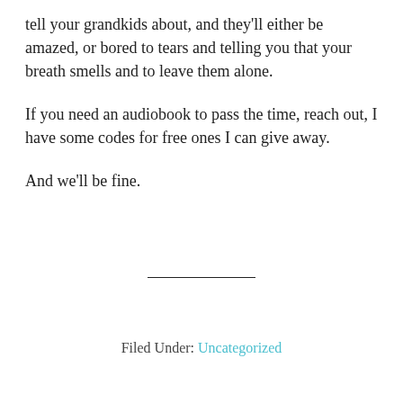tell your grandkids about, and they'll either be amazed, or bored to tears and telling you that your breath smells and to leave them alone.
If you need an audiobook to pass the time, reach out, I have some codes for free ones I can give away.
And we'll be fine.
Filed Under: Uncategorized